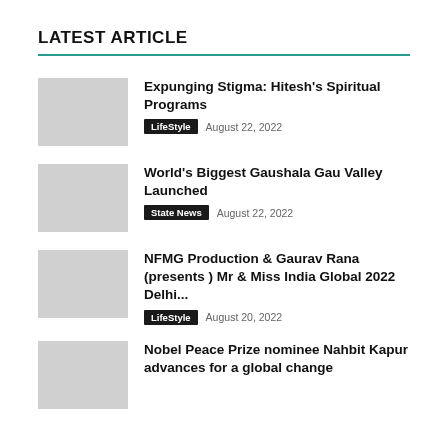LATEST ARTICLE
Expunging Stigma: Hitesh's Spiritual Programs | LifeStyle | August 22, 2022
World's Biggest Gaushala Gau Valley Launched | State News | August 22, 2022
NFMG Production & Gaurav Rana (presents ) Mr & Miss India Global 2022 Delhi... | LifeStyle | August 20, 2022
Nobel Peace Prize nominee Nahbit Kapur advances for a global change